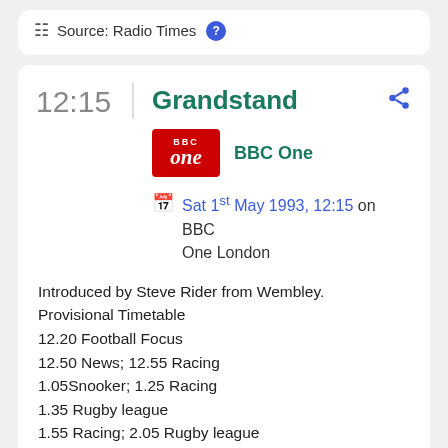Source: Radio Times
Grandstand
BBC One
Sat 1st May 1993, 12:15 on BBC One London
Introduced by Steve Rider from Wembley. Provisional Timetable
12.20 Football Focus
12.50 News; 12.55 Racing
1.05Snooker; 1.25 Racing
1.35 Rugby league
1.55 Racing; 2.05 Rugby league
4.25 Snooker; 4.40 Final Score
Rugby League
Widnes fWigan
Live coverage of the daily Silk Cut Chall...